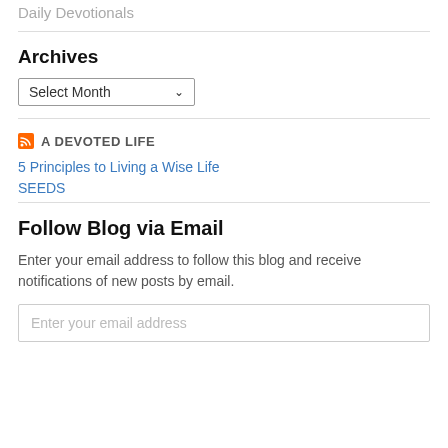Daily Devotionals
Archives
Select Month
A DEVOTED LIFE
5 Principles to Living a Wise Life
SEEDS
Follow Blog via Email
Enter your email address to follow this blog and receive notifications of new posts by email.
Enter your email address